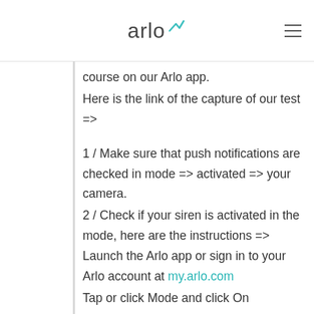arlo
course on our Arlo app.
Here is the link of the capture of our test =>
1 / Make sure that push notifications are checked in mode => activated => your camera.
2 / Check if your siren is activated in the mode, here are the instructions => Launch the Arlo app or sign in to your Arlo account at my.arlo.com
Tap or click Mode and click On
Tap the pencil icon or click> next to it
Under Rules, tap the pencil icon or